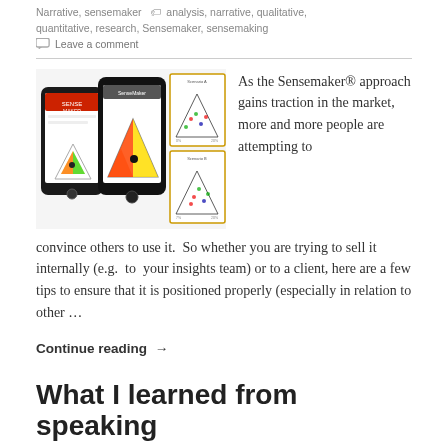Narrative, sensemaker   analysis, narrative, qualitative, quantitative, research, Sensemaker, sensemaking
Leave a comment
[Figure (photo): Two smartphones showing SenseMaker app screens with colorful triangle interface, alongside printed triangular diagrams with data overlays]
As the Sensemaker® approach gains traction in the market, more and more people are attempting to convince others to use it.  So whether you are trying to sell it internally (e.g.  to  your insights team) or to a client, here are a few tips to ensure that it is positioned properly (especially in relation to other …
Continue reading →
What I learned from speaking